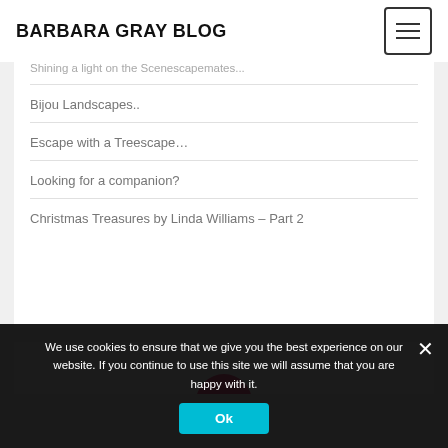BARBARA GRAY BLOG
Shining a light on the Scenescapemates...
Bijou Landscapes..
Escape with a Treescape…
Looking for a companion?
Christmas Treasures by Linda Williams – Part 2
[Figure (screenshot): Partial view of a second white card with a pink/red semicircle at the bottom center]
We use cookies to ensure that we give you the best experience on our website. If you continue to use this site we will assume that you are happy with it.
Ok